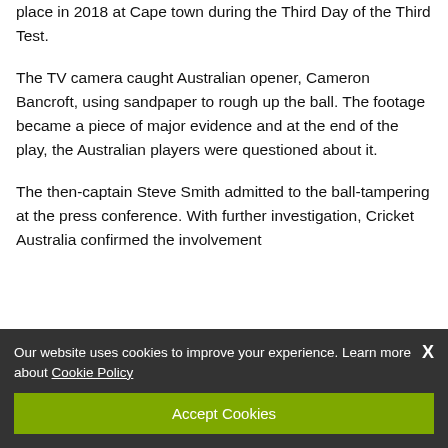place in 2018 at Cape town during the Third Day of the Third Test.
The TV camera caught Australian opener, Cameron Bancroft, using sandpaper to rough up the ball. The footage became a piece of major evidence and at the end of the play, the Australian players were questioned about it.
The then-captain Steve Smith admitted to the ball-tampering at the press conference. With further investigation, Cricket Australia confirmed the involvement
Our website uses cookies to improve your experience. Learn more about Cookie Policy
Accept Cookies